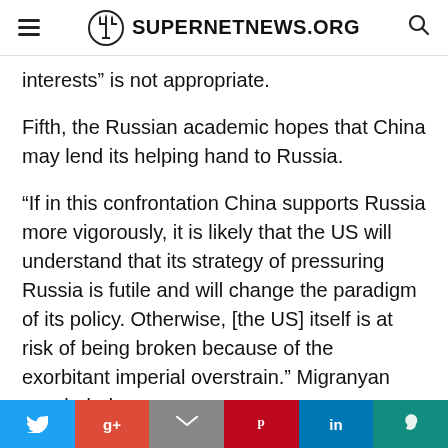SUPERNETNEWS.ORG
interests” is not appropriate.
Fifth, the Russian academic hopes that China may lend its helping hand to Russia.
“If in this confrontation China supports Russia more vigorously, it is likely that the US will understand that its strategy of pressuring Russia is futile and will change the paradigm of its policy. Otherwise, [the US] itself is at risk of being broken because of the exorbitant imperial overstrain.” Migranyan concluded
Twitter | Google+ | Gmail | Pinterest | LinkedIn | WhatsApp